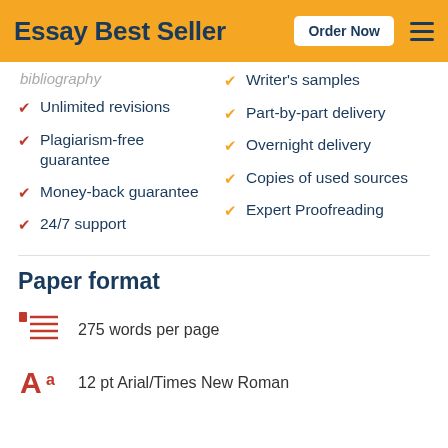Essay Best Seller  Order Now
bibliography (partial, cut off)
Writer's samples
Unlimited revisions
Part-by-part delivery
Plagiarism-free guarantee
Overnight delivery
Money-back guarantee
Copies of used sources
24/7 support
Expert Proofreading
Paper format
275 words per page
12 pt Arial/Times New Roman